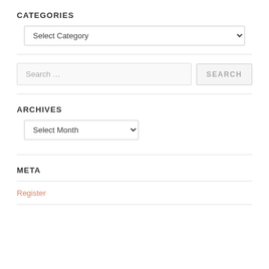CATEGORIES
Select Category (dropdown)
Search … (search box with SEARCH button)
ARCHIVES
Select Month (dropdown)
META
Register